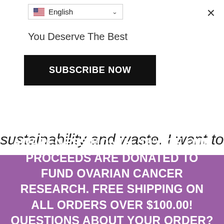[Figure (screenshot): Language selector dropdown showing English with flag icon]
You Deserve The Best
[Figure (other): Black SUBSCRIBE NOW button]
sustainability and waste. I want to
SEPTEMBER IS OVARIAN CANCER AWARENESS MONTH. 10% OF OUR PROCEEDS ARE DONATED TO FUND OVARIAN CANCER RESEARCH. FREE SHIPPING ON ALL ORDERS OVER $100.00! QUESTIONS ABOUT YOUR ORDER? CONTACT US AT ADMIN@ZAFTYG.COM Dismiss